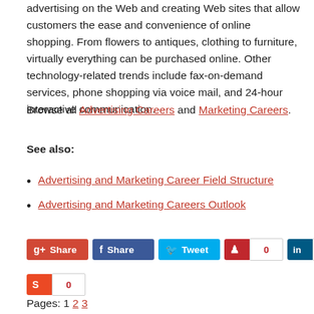advertising on the Web and creating Web sites that allow customers the ease and convenience of online shopping. From flowers to antiques, clothing to furniture, virtually everything can be purchased online. Other technology-related trends include fax-on-demand services, phone shopping via voice mail, and 24-hour interactive communication.
Browse all Advertising Careers and Marketing Careers.
See also:
Advertising and Marketing Career Field Structure
Advertising and Marketing Careers Outlook
Pages: 1 2 3